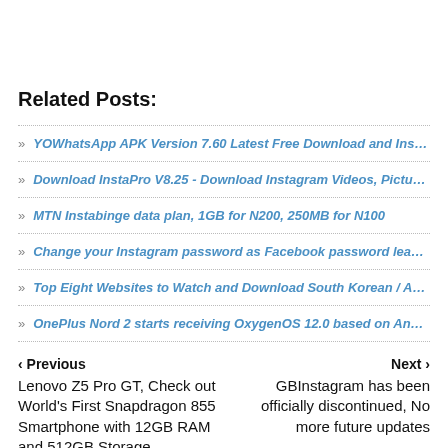Related Posts:
YOWhatsApp APK Version 7.60 Latest Free Download and Install
Download InstaPro V8.25 - Download Instagram Videos, Pictures, stories, reels and IC
MTN Instabinge data plan, 1GB for N200, 250MB for N100
Change your Instagram password as Facebook password leak affects millions of Insta
Top Eight Websites to Watch and Download South Korean / Asian Drama Movies for f
OnePlus Nord 2 starts receiving OxygenOS 12.0 based on Android 12
Previous
Lenovo Z5 Pro GT, Check out World's First Snapdragon 855 Smartphone with 12GB RAM and 512GB Storage
Next
GBInstagram has been officially discontinued, No more future updates